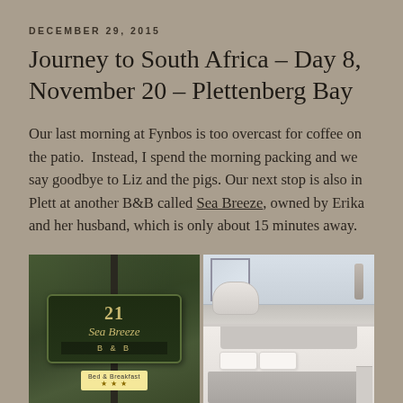DECEMBER 29, 2015
Journey to South Africa – Day 8, November 20 – Plettenberg Bay
Our last morning at Fynbos is too overcast for coffee on the patio.  Instead, I spend the morning packing and we say goodbye to Liz and the pigs. Our next stop is also in Plett at another B&B called Sea Breeze, owned by Erika and her husband, which is only about 15 minutes away.
[Figure (photo): Two photos side by side: left shows a green wooden sign reading '21 Sea Breeze B & B' with 'Bed & Breakfast ★★★' below; right shows a hotel room interior with a white bed and bathtub.]